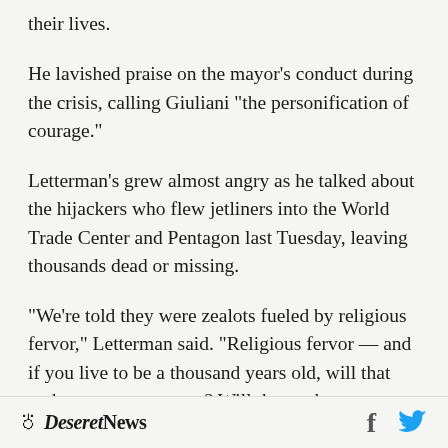their lives.
He lavished praise on the mayor's conduct during the crisis, calling Giuliani "the personification of courage."
Letterman's grew almost angry as he talked about the hijackers who flew jetliners into the World Trade Center and Pentagon last Tuesday, leaving thousands dead or missing.
"We're told they were zealots fueled by religious fervor," Letterman said. "Religious fervor — and if you live to be a thousand years old, will that make any sense to you? Will that make any
Deseret News